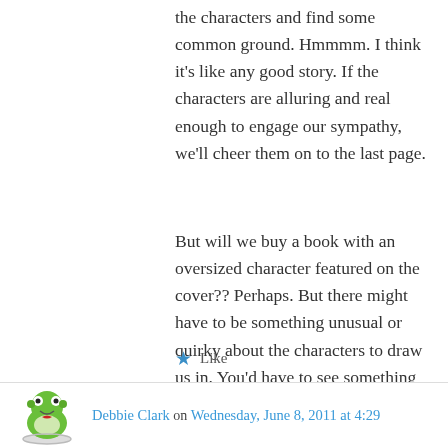the characters and find some common ground. Hmmmm. I think it's like any good story. If the characters are alluring and real enough to engage our sympathy, we'll cheer them on to the last page.
But will we buy a book with an oversized character featured on the cover?? Perhaps. But there might have to be something unusual or quirky about the characters to draw us in. You'd have to see something — humor, intelligence, edginess — beyond their weight.
★ Like
Debbie Clark on Wednesday, June 8, 2011 at 4:29